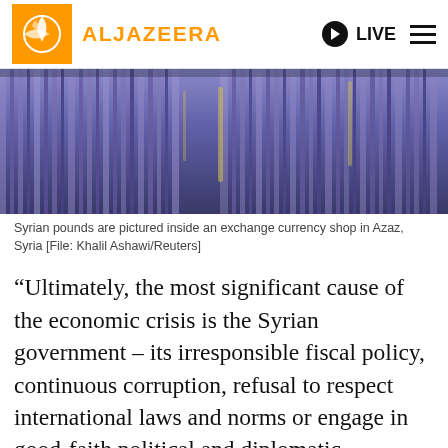AL JAZEERA | LIVE
[Figure (photo): Close-up of rolled Syrian pound banknotes inside an exchange currency shop in Azaz, Syria. The notes appear purple/violet colored, stacked and bundled together.]
Syrian pounds are pictured inside an exchange currency shop in Azaz, Syria [File: Khalil Ashawi/Reuters]
“Ultimately, the most significant cause of the economic crisis is the Syrian government – its irresponsible fiscal policy, continuous corruption, refusal to respect international laws and norms or engage in good-faith political and diplomatic negotiations,” said SCJA in a report issued on Tuesday, which added that the sanctions offer a clear path for the Syrian government out of the